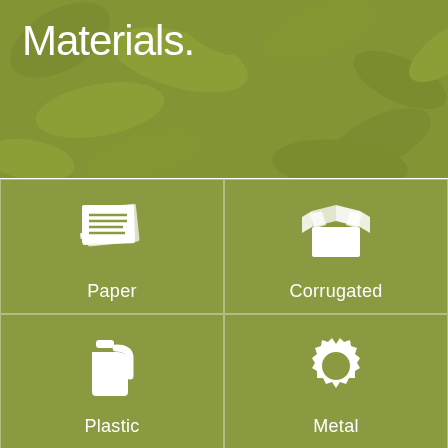[Figure (illustration): Green-tinted background photo of leaves/recycling materials with overlaid title text 'Materials.']
Materials.
[Figure (infographic): 2x2 grid of recycling material categories on olive green background: Paper (stack of papers icon), Corrugated (open box icon), Plastic (jug/bottle icon), Metal (gear icon)]